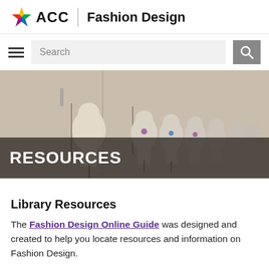ACC Fashion Design
[Figure (photo): Row of dress form mannequins in a fashion design studio, with adjustable stands]
RESOURCES
Library Resources
The Fashion Design Online Guide was designed and created to help you locate resources and information on Fashion Design.